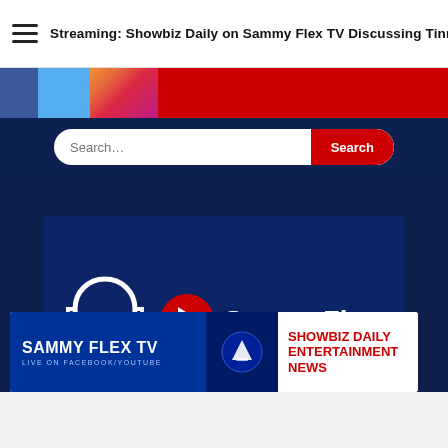Streaming: Showbiz Daily on Sammy Flex TV Discussing Tinny
[Figure (screenshot): Social media icon bar with Facebook, Twitter, Instagram, YouTube colors]
[Figure (screenshot): Search bar with text input and red Search button on dark blue background]
[Figure (screenshot): SammyFlex TV logo with play button on dark blue background video thumbnail]
[Figure (screenshot): Sammy Flex TV banner ad - LIVE ON FACEBOOK/YOUTUBE with SHOWBIZ DAILY ENTERTAINMENT NEWS in red]